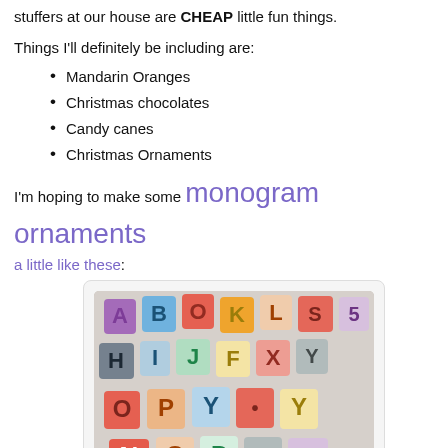stuffers at our house are CHEAP little fun things.
Things I'll definitely be including are:
Mandarin Oranges
Christmas chocolates
Candy canes
Christmas Ornaments
I'm hoping to make some monogram ornaments a little like these:
[Figure (photo): Photo of colorful fabric letter ornaments arranged on a surface, showing various letters of the alphabet made from different patterned fabrics in reds, greens, blues, and other colors.]